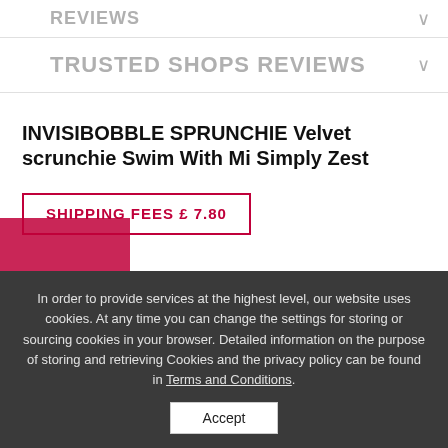REVIEWS
TRUSTED SHOPS REVIEWS
INVISIBOBBLE SPRUNCHIE Velvet scrunchie Swim With Mi Simply Zest
SHIPPING FEES £ 7.80
In order to provide services at the highest level, our website uses cookies. At any time you can change the settings for storing or sourcing cookies in your browser. Detailed information on the purpose of storing and retrieving Cookies and the privacy policy can be found in Terms and Conditions.
Accept